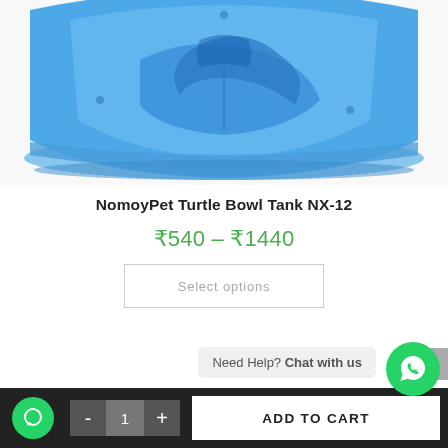[Figure (photo): Blue plastic turtle bowl tank product photo showing top portion of the blue transparent bowl/tank from above]
NomoyPet Turtle Bowl Tank NX-12
₹540 – ₹1440
Select options
Need Help? Chat with us
ADD TO CART